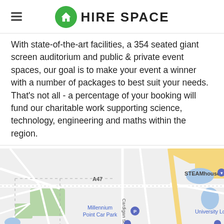HIRE SPACE
With state-of-the-art facilities, a 354 seated giant screen auditorium and public & private event spaces, our goal is to make your event a winner with a number of packages to best suit your needs. That's not all - a percentage of your booking will fund our charitable work supporting science, technology, engineering and maths within the region.
[Figure (map): Google Maps view showing STEAMhouse location with A47 road, Cardigan St, Millennium Point Car Park, and University Loc visible]